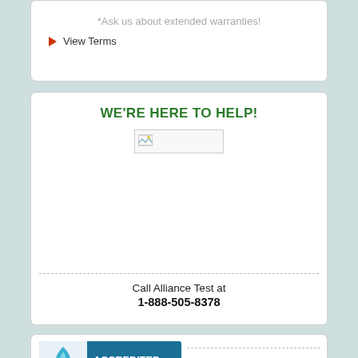*Ask us about extended warranties!
View Terms
WE'RE HERE TO HELP!
[Figure (photo): Placeholder image (broken image icon) — appears to be a photo related to the help/contact section]
Call Alliance Test at
1-888-505-8378
[Figure (logo): BBB Accredited Business badge with torch icon in teal/blue background, white text reading ACCREDITED BUSINESS]